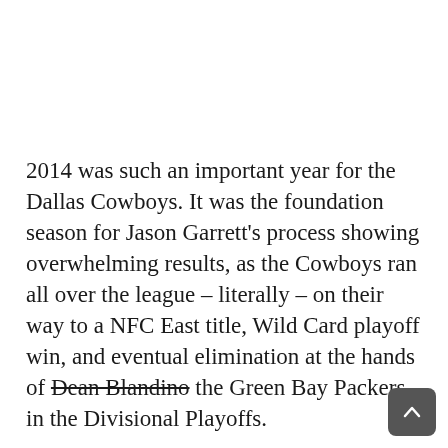2014 was such an important year for the Dallas Cowboys. It was the foundation season for Jason Garrett's process showing overwhelming results, as the Cowboys ran all over the league – literally – on their way to a NFC East title, Wild Card playoff win, and eventual elimination at the hands of Dean Blandino the Green Bay Packers in the Divisional Playoffs.
This process has stood tall through the departure of the running back that was the engine for the 2014 Cowboys, DeMarco Murray, who benefited the most